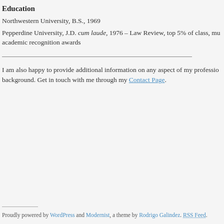Education
Northwestern University, B.S., 1969
Pepperdine University, J.D. cum laude, 1976 – Law Review, top 5% of class, multiple academic recognition awards
I am also happy to provide additional information on any aspect of my professional background. Get in touch with me through my Contact Page.
Proudly powered by WordPress and Modernist, a theme by Rodrigo Galindez. RSS Feed.